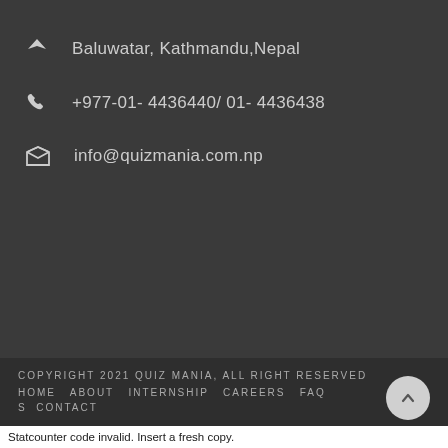Baluwatar, Kathmandu,Nepal
+977-01- 4436440/ 01- 4436438
info@quizmania.com.np
COPYRIGHT 2021 QUIZ MANIA, ALL RIGHT RESERVED
HOME  ABOUT  INTERNSHIP  CAREERS  FAQS  CONTACT
Statcounter code invalid. Insert a fresh copy.